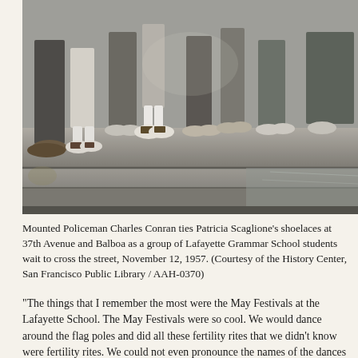[Figure (photo): Black and white photograph showing the lower legs and feet of several children and adults standing on stone steps, wearing 1950s-era shoes and socks on a city sidewalk.]
Mounted Policeman Charles Conran ties Patricia Scaglione's shoelaces at 37th Avenue and Balboa as a group of Lafayette Grammar School students wait to cross the street, November 12, 1957. (Courtesy of the History Center, San Francisco Public Library / AAH-0370)
“The things that I remember the most were the May Festivals at the Lafayette School. The May Festivals were so cool. We would dance around the flag poles and did all these fertility rites that we didn't know were fertility rites. We could not even pronounce the names of the dances that we did. It was all from Scandinavian or Baltic countries, but we loved them! We sang and danced, and it was very ethnic. The biggest thing that I felt